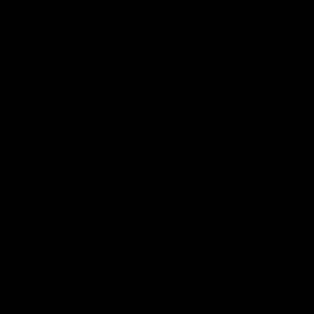| Station | Col2 | Col3 |
| --- | --- | --- |
| Penmaenmawr | 08:10 | 08:20 MWFO |
| Llandudno Jcn | 15:30 MWFO |  |
| Penmaenmawr |  | 08:20 TThO |
| Llandudno Jcn HS | 08:35 TThO |  |
| Llandudno Jcn HS |  | 15:53 MFO |
| Rhyl | pass | 16:18 MFO |
| Holywell Jn | pass | 16:36 MFO |
| Mold Jn No 1 | pass | 16:54 MFO |
| Chester No 6 | pass | 16:58 MFO |
| Chester HS | 17:03 MFO |  |
| Llandudno Jn |  | 15:53 |